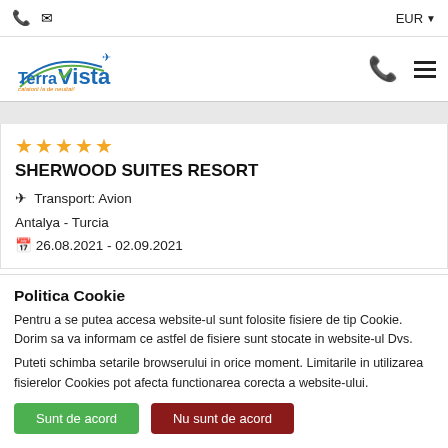EUR ▼
[Figure (logo): TerraVista travel agency logo with plane icon and tagline]
★★★★★ SHERWOOD SUITES RESORT
✈ Transport: Avion
Antalya - Turcia
📅 26.08.2021 - 02.09.2021
Politica Cookie
Pentru a se putea accesa website-ul sunt folosite fisiere de tip Cookie. Dorim sa va informam ce astfel de fisiere sunt stocate in website-ul Dvs.
Puteti schimba setarile browserului in orice moment. Limitarile in utilizarea fisierelor Cookies pot afecta functionarea corecta a website-ului.
Sunt de acord | Nu sunt de acord